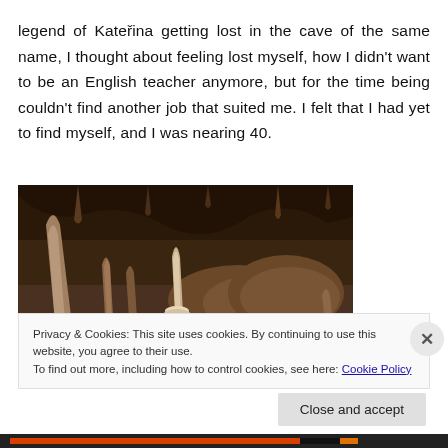legend of Kateřina getting lost in the cave of the same name, I thought about feeling lost myself, how I didn't want to be an English teacher anymore, but for the time being couldn't find another job that suited me. I felt that I had yet to find myself, and I was nearing 40.
[Figure (photo): Interior of a cave showing stalactites and stalagmites, with a lit candle formation in the center foreground and a large rock formation to the right, all in dark brown tones.]
Privacy & Cookies: This site uses cookies. By continuing to use this website, you agree to their use.
To find out more, including how to control cookies, see here: Cookie Policy
Close and accept